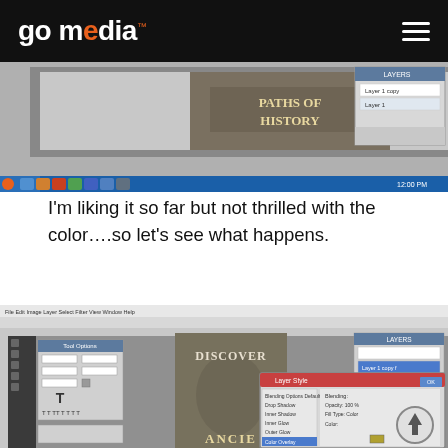go media™
[Figure (screenshot): Screenshot of Adobe Photoshop showing a book cover design titled 'PATHS OF HISTORY' with stone texture background and Layers panel visible. Windows taskbar visible at bottom.]
I'm liking it so far but not thrilled with the color….so let's see what happens.
[Figure (screenshot): Screenshot of Adobe Photoshop showing a book cover design in progress titled 'DISCOVER' and 'ANCIE...' with a stone face image, Layer Style dialog open for color overlay settings, and Layers panel visible.]